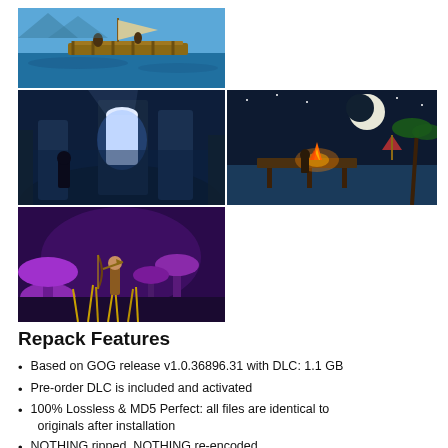[Figure (photo): Top row: wide game screenshot of a raft on blue ocean water with characters on it. Middle row left: dark blue dungeon/cave game screenshot with a character and a glowing doorway. Middle row right: tropical night scene with a campfire, moon, and palm trees. Bottom row: purple fantasy forest scene with a character wielding a weapon.]
Repack Features
Based on GOG release v1.0.36896.31 with DLC: 1.1 GB
Pre-order DLC is included and activated
100% Lossless & MD5 Perfect: all files are identical to originals after installation
NOTHING ripped, NOTHING re-encoded